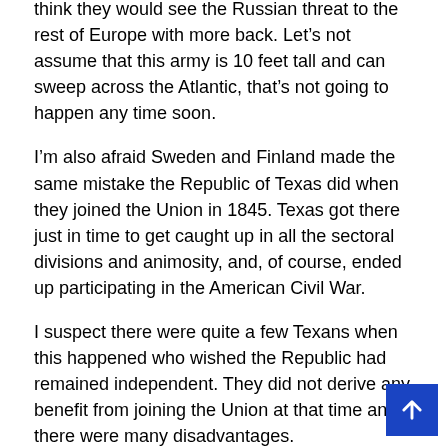think they would see the Russian threat to the rest of Europe with more back. Let's not assume that this army is 10 feet tall and can sweep across the Atlantic, that's not going to happen any time soon.
I'm also afraid Sweden and Finland made the same mistake the Republic of Texas did when they joined the Union in 1845. Texas got there just in time to get caught up in all the sectoral divisions and animosity, and, of course, ended up participating in the American Civil War.
I suspect there were quite a few Texans when this happened who wished the Republic had remained independent. They did not derive any benefit from joining the Union at that time and there were many disadvantages.
But again, I think the ideological factor is important here, that you have centrist and left-centrist factions in Sweden and Finland that view Russia as this existential evil, not necess as an existential threat. There is a difference.